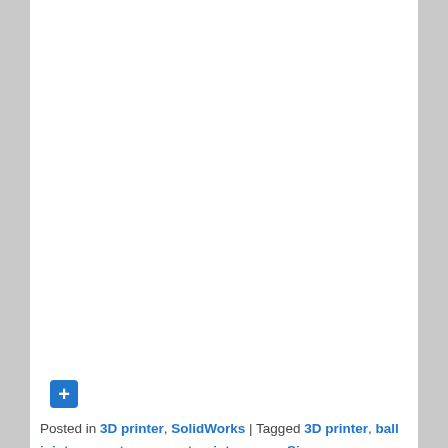[Figure (other): Blue square button with a white plus (+) icon]
Posted in 3D printer, SolidWorks | Tagged 3D printer, ball joint, geometry, magnet, print, reprap, Simon, SolidWorks | Leave a reply
← Older posts
Search